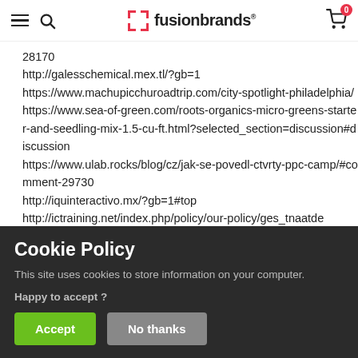fusionbrands
28170
http://galesschemical.mex.tl/?gb=1
https://www.machupicchuroadtrip.com/city-spotlight-philadelphia/
https://www.sea-of-green.com/roots-organics-micro-greens-starter-and-seedling-mix-1.5-cu-ft.html?selected_section=discussion#discussion
https://www.ulab.rocks/blog/cz/jak-se-povedl-ctvrty-ppc-camp/#comment-29730
http://iquinteractivo.mx/?gb=1#top
http://ictraining.net/index.php/policy/our-policy/ges_tnaatde
http://elmundodetatis.infored.mx/?gb=1#top
https://solucionesenmedicionindustrial.com/?gb=1
https://ayudasauditivas.biz/2021/02/17/cuidado-de-los-oidos/#comment-422261
Cookie Policy
This site uses cookies to store information on your computer.
Happy to accept ?
Accept | No thanks